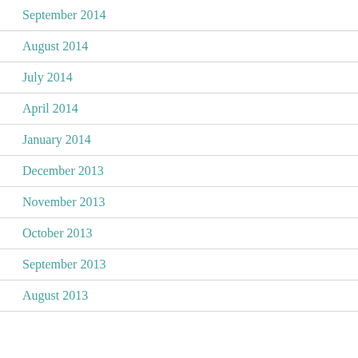September 2014
August 2014
July 2014
April 2014
January 2014
December 2013
November 2013
October 2013
September 2013
August 2013